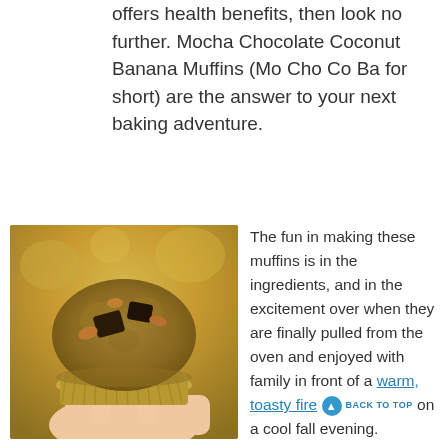offers health benefits, then look no further. Mocha Chocolate Coconut Banana Muffins (Mo Cho Co Ba for short) are the answer to your next baking adventure.
[Figure (photo): A hand holding a muffin with chocolate chunks and nuts on top, photographed outdoors with a blurred warm autumn background.]
The fun in making these muffins is in the ingredients, and in the excitement over when they are finally pulled from the oven and enjoyed with family in front of a warm, toasty fire on a cool fall evening.